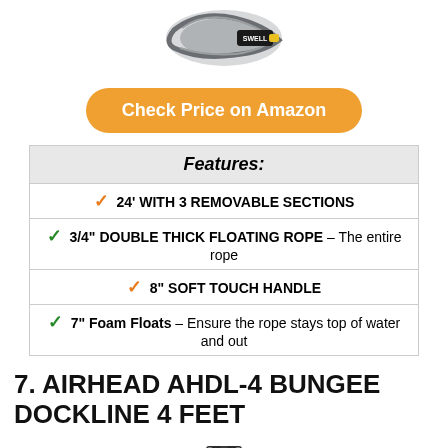[Figure (photo): Coiled rope with SWELL branding label, gray braided rope product photo]
Check Price on Amazon
| Features: |
| --- |
| ✓ 24' WITH 3 REMOVABLE SECTIONS |
| ✓ 3/4" DOUBLE THICK FLOATING ROPE – The entire rope |
| ✓ 8" SOFT TOUCH HANDLE |
| ✓ 7" Foam Floats – Ensure the rope stays top of water and out |
7. AIRHEAD AHDL-4 BUNGEE DOCKLINE 4 FEET
[Figure (photo): Airhead bungee dockline product photo showing a T-bar cleat and bungee rope]